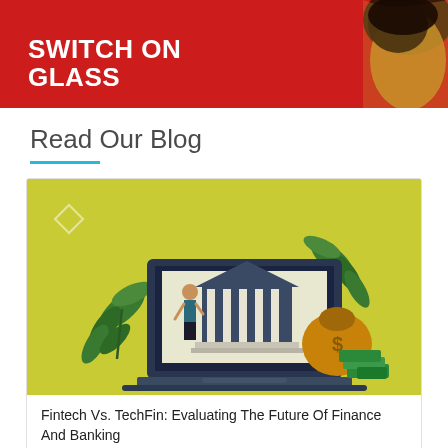[Figure (photo): Top banner with red background showing 'SWITCH ON GLASS' text in white bold letters and a partial photo of a woman with dark hair on the right side]
Read Our Blog
[Figure (illustration): Illustration on yellow-green background showing a laptop with a bank building on screen, a woman standing next to it, green leaves, a gold money bag with dollar sign, and green money/cash stacks]
Fintech Vs. TechFin: Evaluating The Future Of Finance And Banking